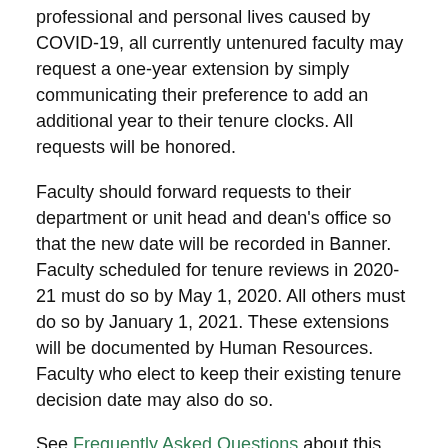professional and personal lives caused by COVID-19, all currently untenured faculty may request a one-year extension by simply communicating their preference to add an additional year to their tenure clocks. All requests will be honored.
Faculty should forward requests to their department or unit head and dean's office so that the new date will be recorded in Banner. Faculty scheduled for tenure reviews in 2020-21 must do so by May 1, 2020. All others must do so by January 1, 2021. These extensions will be documented by Human Resources. Faculty who elect to keep their existing tenure decision date may also do so.
See Frequently Asked Questions about this extension.
Timely Notice